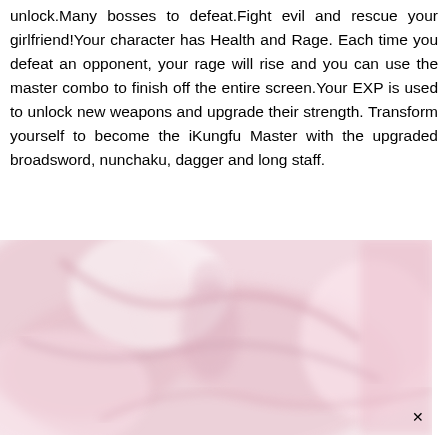unlock.Many bosses to defeat.Fight evil and rescue your girlfriend!Your character has Health and Rage. Each time you defeat an opponent, your rage will rise and you can use the master combo to finish off the entire screen.Your EXP is used to unlock new weapons and upgrade their strength. Transform yourself to become the iKungfu Master with the upgraded broadsword, nunchaku, dagger and long staff.
[Figure (illustration): A blurry, soft-focus illustrated image with pink and white tones, appearing to show a character or scene from an iKungfu-style game. The image is partially cropped and has a close (x) button in the lower right corner.]